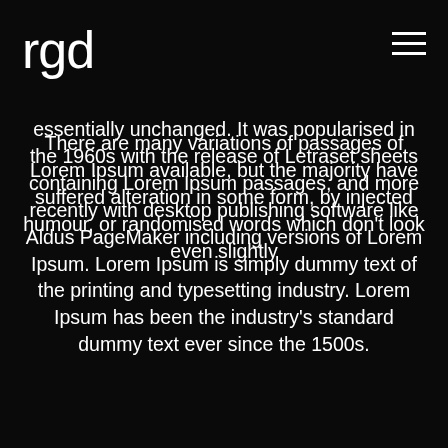rgd
essentially unchanged. It was popularised in the 1960s with the release of Letraset sheets containing Lorem Ipsum passages, and more recently with desktop publishing software like Aldus PageMaker including versions of Lorem Ipsum. Lorem Ipsum is simply dummy text of the printing and typesetting industry. Lorem Ipsum has been the industry's standard dummy text ever since the 1500s.
There are many variations of passages of Lorem Ipsum available, but the majority have suffered alteration in some form, by injected humour, or randomised words which don't look even slightly